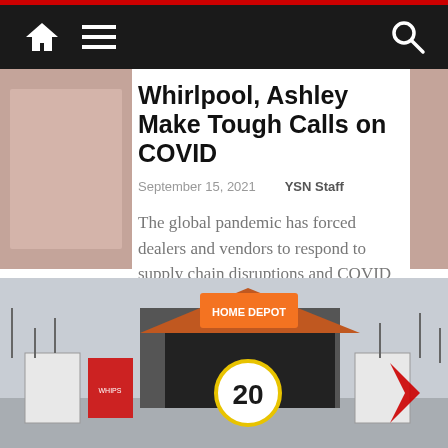Navigation bar with home, menu, and search icons
Whirlpool, Ashley Make Tough Calls on COVID
September 15, 2021    YSN Staff
The global pandemic has forced dealers and vendors to respond to supply chain disruptions and COVID outbreaks in creative and often dramatic ways.
Read more
[Figure (photo): Exterior photo of a Home Depot store entrance with a parking lot, sign boards, and a banner showing the number 20. A red chevron arrow is visible on the right side.]